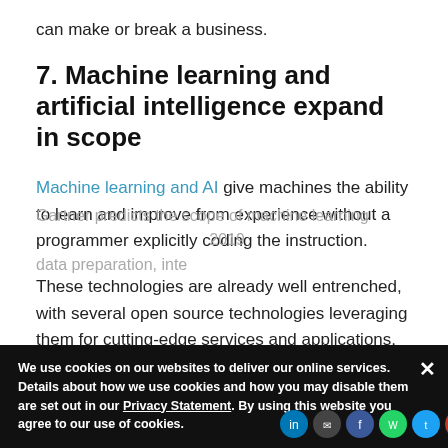can make or break a business.
7. Machine learning and artificial intelligence expand in scope
Machine learning and AI give machines the ability to learn and improve from experience without a programmer explicitly coding the instruction.
These technologies are already well entrenched, with several open source technologies leveraging them for cutting-edge services and applications.
Gartner predicts the scope of machine learning ... 2019 ... data preparation, inte
We use cookies on our websites to deliver our online services. Details about how we use cookies and how you may disable them are set out in our Privacy Statement. By using this website you agree to our use of cookies.